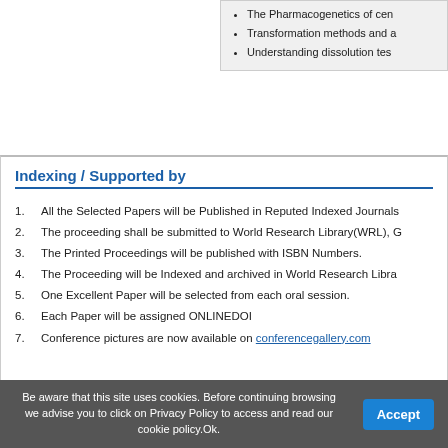The Pharmacogenetics of cen
Transformation methods and a
Understanding dissolution tes
Indexing / Supported by
1.  All the Selected Papers will be Published in Reputed Indexed Journals
2.  The proceeding shall be submitted to World Research Library(WRL), G
3.  The Printed Proceedings will be published with ISBN Numbers.
4.  The Proceeding will be Indexed and archived in World Research Libra
5.  One Excellent Paper will be selected from each oral session.
6.  Each Paper will be assigned ONLINEDOI
7.  Conference pictures are now available on conferencegallery.com
[Figure (logo): WZB Social Science Research Center logo]
[Figure (logo): Scholarsteer - Scholarly Information logo]
Be aware that this site uses cookies. Before continuing browsing we advise you to click on Privacy Policy to access and read our cookie policy.Ok.